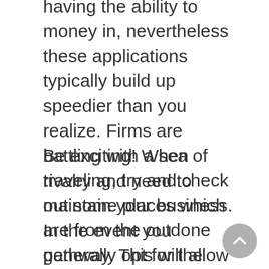having the ability to money in, nevertheless these applications typically build up speedier than you realize. Firms are battling with a sea of rivalry and need to maintain your business. In the event you generally opt for the identical firm, find what form of incentives they already have into position for your personal commitment.
Be exciting! When traveling, try and check out some places which are from the outdone pathway. This will allow you to expertise several of the neighborhood culture. It’s usually entertaining to test new and other foods and also practical experience new stuff! It will be possible to fondly reminisce into it after.